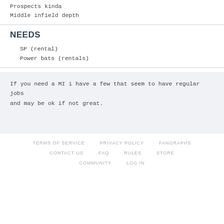Prospects kinda
Middle infield depth
NEEDS
SP (rental)
Power bats (rentals)
If you need a MI i have a few that seem to have regular jobs and may be ok if not great.
TERMS OF SERVICE   PRIVACY POLICY   FANGRAPHS   CONTACT US   FAQ   RULES   STORE   COMMUNITY   LOG IN